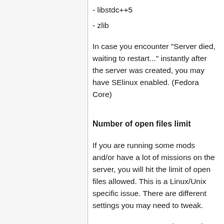- libstdc++5
- zlib
In case you encounter "Server died, waiting to restart..." instantly after the server was created, you may have SElinux enabled. (Fedora Core)
Number of open files limit
If you are running some mods and/or have a lot of missions on the server, you will hit the limit of open files allowed. This is a Linux/Unix specific issue. There are different settings you may need to tweak.
For once you may need to tweak the system-wide setting for max-files-open (See [1]). Then you might still need to allow the individual user that runs the Arma server to open enough files. The